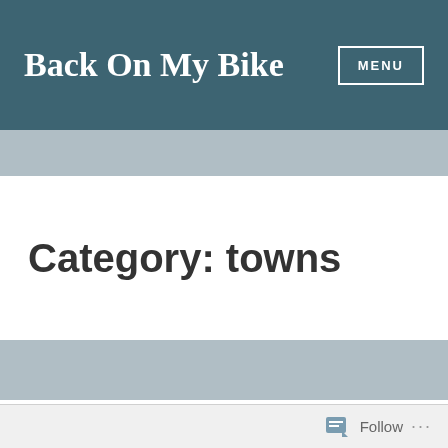Back On My Bike
Category: towns
Car free in a crisis
Follow